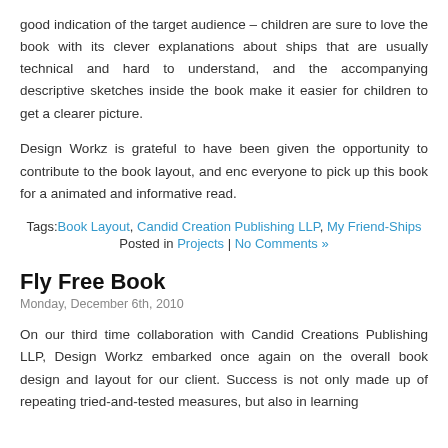good indication of the target audience – children are sure to love the book with its clever explanations about ships that are usually technical and hard to understand, and the accompanying descriptive sketches inside the book make it easier for children to get a clearer picture.
Design Workz is grateful to have been given the opportunity to contribute to the book layout, and encourage everyone to pick up this book for a animated and informative read.
Tags: Book Layout, Candid Creation Publishing LLP, My Friend-Ships
Posted in Projects | No Comments »
Fly Free Book
Monday, December 6th, 2010
On our third time collaboration with Candid Creations Publishing LLP, Design Workz embarked once again on the overall book design and layout for our client. Success is not only made up of repeating tried-and-tested measures, but also in learning